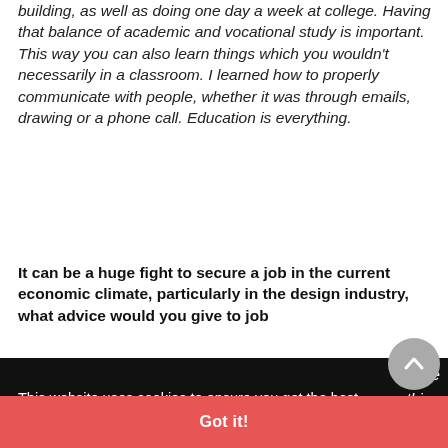building, as well as doing one day a week at college. Having that balance of academic and vocational study is important. This way you can also learn things which you wouldn't necessarily in a classroom. I learned how to properly communicate with people, whether it was through emails, drawing or a phone call. Education is everything.
It can be a huge fight to secure a job in the current economic climate, particularly in the design industry, what advice would you give to job
[Figure (screenshot): Cookie consent banner overlay on a webpage. Black background with white text: 'This website uses cookies to ensure you get the best experience on our website.' with 'Learn more' underlined link. A red 'Got it!' button at the bottom. A grey circular scroll-to-top button visible on the right. Partially visible italic text on the right side reading 'the', 'thing', 'hem', 'to'. Partially visible text at bottom left reading 'Architecture'.]